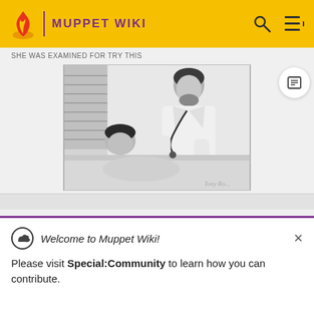MUPPET WIKI
[Figure (photo): Black and white photo of a doctor in a white coat using a stethoscope to examine a patient lying in a hospital bed. The doctor is leaning over the patient who is looking up.]
[Figure (infographic): Welcome to Muppet Wiki notification banner with cloud/upload icon. Text: Welcome to Muppet Wiki! Please visit Special:Community to learn how you can contribute.]
Please visit Special:Community to learn how you can contribute.